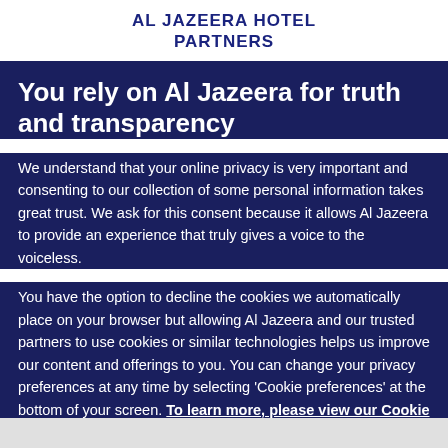AL JAZEERA HOTEL PARTNERS
You rely on Al Jazeera for truth and transparency
We understand that your online privacy is very important and consenting to our collection of some personal information takes great trust. We ask for this consent because it allows Al Jazeera to provide an experience that truly gives a voice to the voiceless.
You have the option to decline the cookies we automatically place on your browser but allowing Al Jazeera and our trusted partners to use cookies or similar technologies helps us improve our content and offerings to you. You can change your privacy preferences at any time by selecting 'Cookie preferences' at the bottom of your screen. To learn more, please view our Cookie Policy.